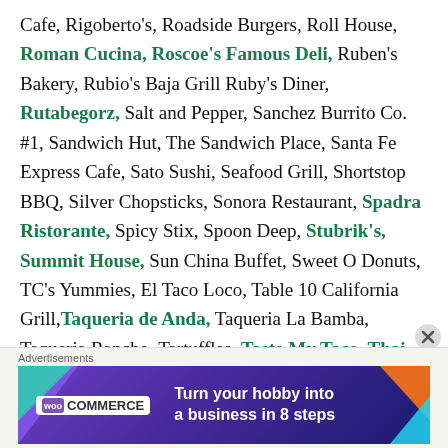Cafe, Rigoberto's, Roadside Burgers, Roll House, Roman Cucina, Roscoe's Famous Deli, Ruben's Bakery, Rubio's Baja Grill Ruby's Diner, Rutabegorz, Salt and Pepper, Sanchez Burrito Co. #1, Sandwich Hut, The Sandwich Place, Santa Fe Express Cafe, Sato Sushi, Seafood Grill, Shortstop BBQ, Silver Chopsticks, Sonora Restaurant, Spadra Ristorante, Spicy Stix, Spoon Deep, Stubrik's, Summit House, Sun China Buffet, Sweet O Donuts, TC's Yummies, El Taco Loco, Table 10 California Grill, Taqueria de Anda, Taqueria La Bamba, Taqueria Rancho, Tartuffles, Taste My Taco, Thai Basil, Thai Original BBQ, Thai-Rama BBQ, Top Class Pizza, Top Donut House, Tortas La Corona, Tropical Shave Ice, Twin Dragon, Villa's Mexican
[Figure (infographic): WooCommerce advertisement banner: 'Turn your hobby into a business in 8 steps' on purple background with geometric shapes]